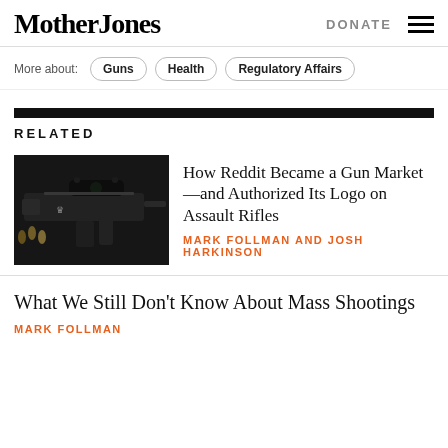Mother Jones | DONATE
More about: Guns | Health | Regulatory Affairs
RELATED
[Figure (photo): Close-up photo of a black AR-15 style assault rifle with scope and a small crown logo on the lower receiver, with ammunition visible in background]
How Reddit Became a Gun Market—and Authorized Its Logo on Assault Rifles
MARK FOLLMAN AND JOSH HARKINSON
What We Still Don't Know About Mass Shootings
MARK FOLLMAN